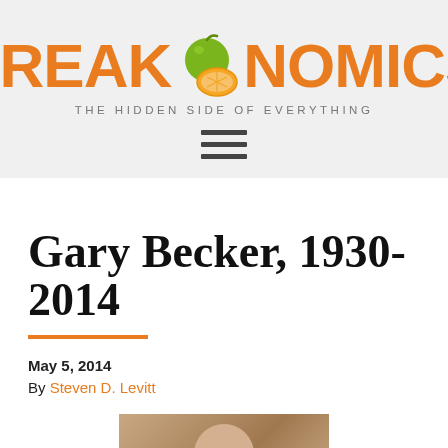FREAKONOMICS — THE HIDDEN SIDE OF EVERYTHING
Gary Becker, 1930-2014
May 5, 2014
By Steven D. Levitt
[Figure (photo): Bottom portion of a photo of Gary Becker, partially visible at the bottom of the page]